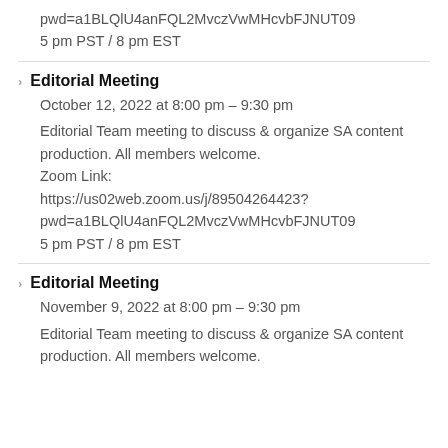pwd=a1BLQlU4anFQL2MvczVwMHcvbFJNUT09
5 pm PST / 8 pm EST
Editorial Meeting
October 12, 2022 at 8:00 pm – 9:30 pm
Editorial Team meeting to discuss & organize SA content production. All members welcome.
Zoom Link:
https://us02web.zoom.us/j/89504264423?pwd=a1BLQlU4anFQL2MvczVwMHcvbFJNUT09
5 pm PST / 8 pm EST
Editorial Meeting
November 9, 2022 at 8:00 pm – 9:30 pm
Editorial Team meeting to discuss & organize SA content production. All members welcome.